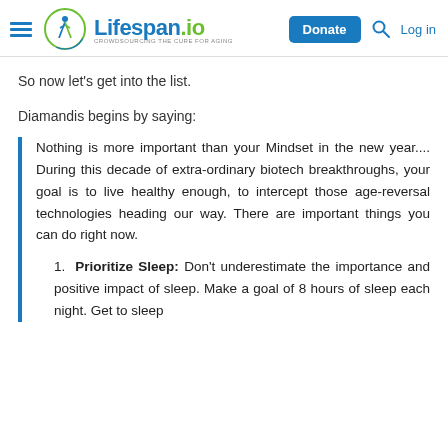Lifespan.io — CROWDSOURCING THE CURE FOR AGING | Donate | Log in
So now let's get into the list.
Diamandis begins by saying:
Nothing is more important than your Mindset in the new year.... During this decade of extra-ordinary biotech breakthroughs, your goal is to live healthy enough, to intercept those age-reversal technologies heading our way. There are important things you can do right now.
Prioritize Sleep: Don't underestimate the importance and positive impact of sleep. Make a goal of 8 hours of sleep each night. Get to sleep